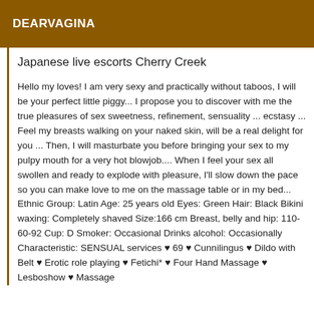DEARVAGINA
Japanese live escorts Cherry Creek
Hello my loves! I am very sexy and practically without taboos, I will be your perfect little piggy... I propose you to discover with me the true pleasures of sex sweetness, refinement, sensuality ... ecstasy ... Feel my breasts walking on your naked skin, will be a real delight for you ... Then, I will masturbate you before bringing your sex to my pulpy mouth for a very hot blowjob.... When I feel your sex all swollen and ready to explode with pleasure, I'll slow down the pace so you can make love to me on the massage table or in my bed... Ethnic Group: Latin Age: 25 years old Eyes: Green Hair: Black Bikini waxing: Completely shaved Size:166 cm Breast, belly and hip: 110-60-92 Cup: D Smoker: Occasional Drinks alcohol: Occasionally Characteristic: SENSUAL services ♥ 69 ♥ Cunnilingus ♥ Dildo with Belt ♥ Erotic role playing ♥ Fetichi* ♥ Four Hand Massage ♥ Lesboshow ♥ Massage